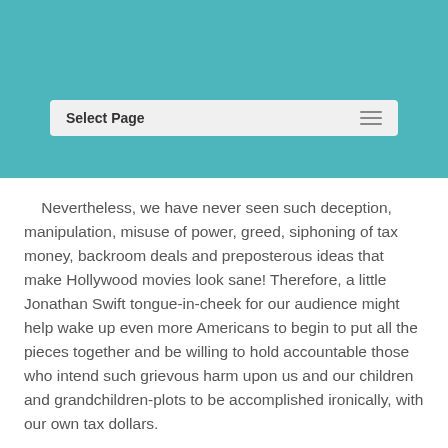Select Page
Nevertheless, we have never seen such deception, manipulation, misuse of power, greed, siphoning of tax money, backroom deals and preposterous ideas that make Hollywood movies look sane! Therefore, a little Jonathan Swift tongue-in-cheek for our audience might help wake up even more Americans to begin to put all the pieces together and be willing to hold accountable those who intend such grievous harm upon us and our children and grandchildren-plots to be accomplished ironically, with our own tax dollars.